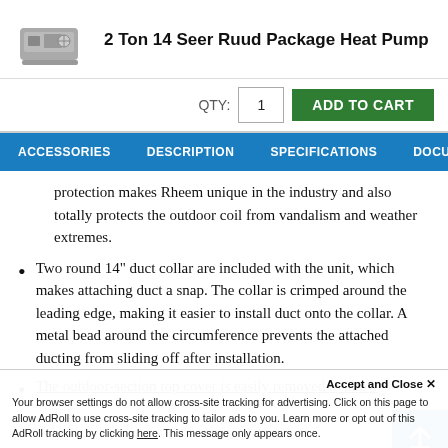2 Ton 14 Seer Ruud Package Heat Pump
protection makes Rheem unique in the industry and also totally protects the outdoor coil from vandalism and weather extremes.
Two round 14" duct collar are included with the unit, which makes attaching duct a snap. The collar is crimped around the leading edge, making it easier to install duct onto the collar. A metal bead around the circumference prevents the attached ducting from sliding off after installation.
The outdoor-section top cover is easily removed to allow access to the the scroll compressor, outdoor...
Accept and Close X
Your browser settings do not allow cross-site tracking for advertising. Click on this page to allow AdRoll to use cross-site tracking to tailor ads to you. Learn more or opt out of this AdRoll tracking by clicking here. This message only appears once.